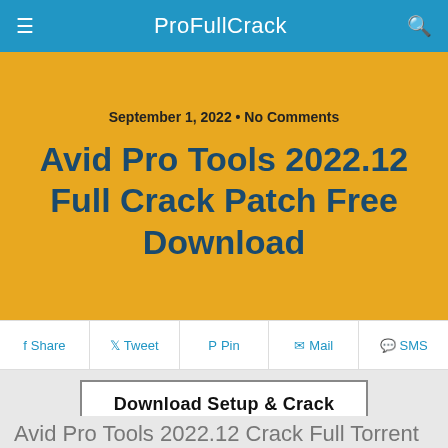ProFullCrack
September 1, 2022 • No Comments
Avid Pro Tools 2022.12 Full Crack Patch Free Download
Share   Tweet   Pin   Mail   SMS
Download Setup & Crack
Avid Pro Tools 2022.12 Crack Full Torrent Latest Version